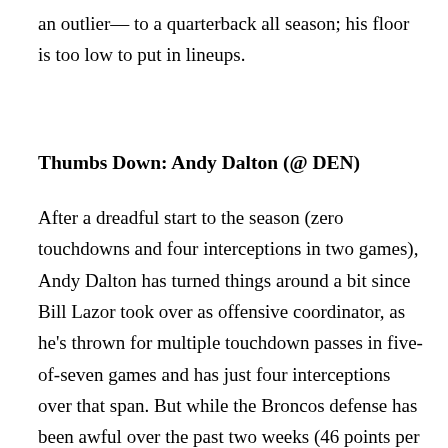an outlier— to a quarterback all season; his floor is too low to put in lineups.
Thumbs Down: Andy Dalton (@ DEN)
After a dreadful start to the season (zero touchdowns and four interceptions in two games), Andy Dalton has turned things around a bit since Bill Lazor took over as offensive coordinator, as he's thrown for multiple touchdown passes in five-of-seven games and has just four interceptions over that span. But while the Broncos defense has been awful over the past two weeks (46 points per game to the Eagles and Patriots), they have too many